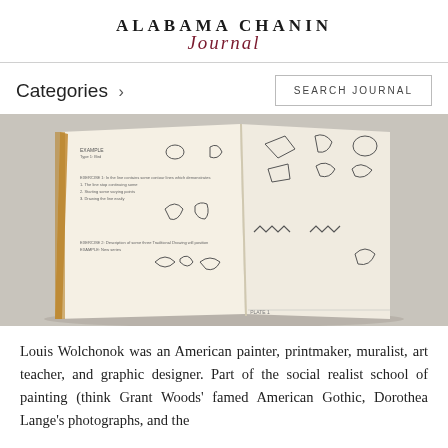ALABAMA CHANIN Journal
Categories >
SEARCH JOURNAL
[Figure (photo): Open book showing illustrated pages with hand-drawn shapes, symbols, and forms arranged in a teaching/design manual format, photographed on a light gray surface.]
Louis Wolchonok was an American painter, printmaker, muralist, art teacher, and graphic designer. Part of the social realist school of painting (think Grant Woods' famed American Gothic, Dorothea Lange's photographs, and the